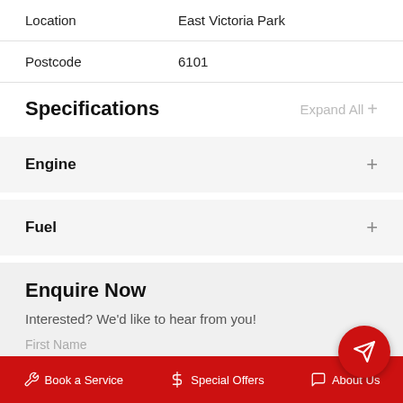| Field | Value |
| --- | --- |
| Location | East Victoria Park |
| Postcode | 6101 |
Specifications
Engine
Fuel
Enquire Now
Interested? We'd like to hear from you!
First Name
Book a Service   Special Offers   About Us